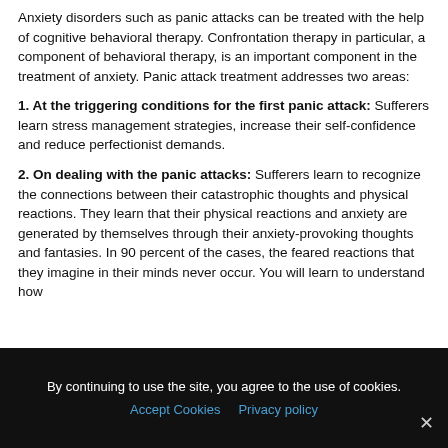Anxiety disorders such as panic attacks can be treated with the help of cognitive behavioral therapy. Confrontation therapy in particular, a component of behavioral therapy, is an important component in the treatment of anxiety. Panic attack treatment addresses two areas:
1. At the triggering conditions for the first panic attack: Sufferers learn stress management strategies, increase their self-confidence and reduce perfectionist demands.
2. On dealing with the panic attacks: Sufferers learn to recognize the connections between their catastrophic thoughts and physical reactions. They learn that their physical reactions and anxiety are generated by themselves through their anxiety-provoking thoughts and fantasies. In 90 percent of the cases, the feared reactions that they imagine in their minds never occur. You will learn to understand how
By continuing to use the site, you agree to the use of cookies.
Accept Cookies  Privacy policy